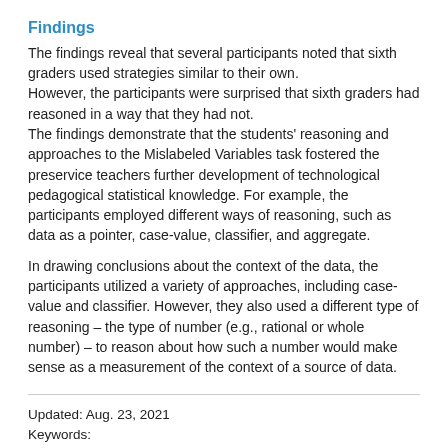Findings
The findings reveal that several participants noted that sixth graders used strategies similar to their own.
However, the participants were surprised that sixth graders had reasoned in a way that they had not.
The findings demonstrate that the students' reasoning and approaches to the Mislabeled Variables task fostered the preservice teachers further development of technological pedagogical statistical knowledge. For example, the participants employed different ways of reasoning, such as data as a pointer, case-value, classifier, and aggregate.
In drawing conclusions about the context of the data, the participants utilized a variety of approaches, including case-value and classifier. However, they also used a different type of reasoning – the type of number (e.g., rational or whole number) – to reason about how such a number would make sense as a measurement of the context of a source of data.
Updated: Aug. 23, 2021
Keywords: